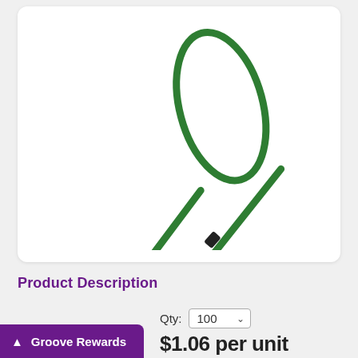[Figure (photo): A green lanyard with black plastic fittings and a loop, shown on a white background.]
Product Description
Qty: 100
Groove Rewards
$1.06 per unit